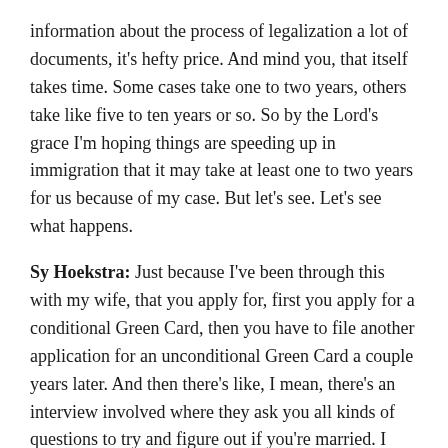information about the process of legalization a lot of documents, it's hefty price. And mind you, that itself takes time. Some cases take one to two years, others take like five to ten years or so. So by the Lord's grace I'm hoping things are speeding up in immigration that it may take at least one to two years for us because of my case. But let's see. Let's see what happens.
Sy Hoekstra: Just because I've been through this with my wife, that you apply for, first you apply for a conditional Green Card, then you have to file another application for an unconditional Green Card a couple years later. And then there's like, I mean, there's an interview involved where they ask you all kinds of questions to try and figure out if you're married. I mean, we submitted like the check that we paid the venue for our wedding, because you just want to submit